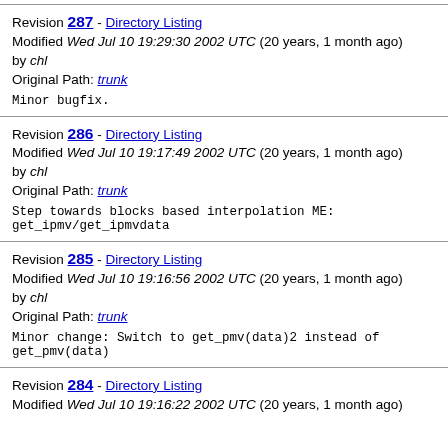Revision 287 - Directory Listing
Modified Wed Jul 10 19:29:30 2002 UTC (20 years, 1 month ago) by chl
Original Path: trunk
Minor bugfix.
Revision 286 - Directory Listing
Modified Wed Jul 10 19:17:49 2002 UTC (20 years, 1 month ago) by chl
Original Path: trunk
Step towards blocks based interpolation ME:
get_ipmv/get_ipmvdata
Revision 285 - Directory Listing
Modified Wed Jul 10 19:16:56 2002 UTC (20 years, 1 month ago) by chl
Original Path: trunk
Minor change: Switch to get_pmv(data)2 instead of get_pmv(data)
Revision 284 - Directory Listing
Modified Wed Jul 10 19:16:22 2002 UTC (20 years, 1 month ago)